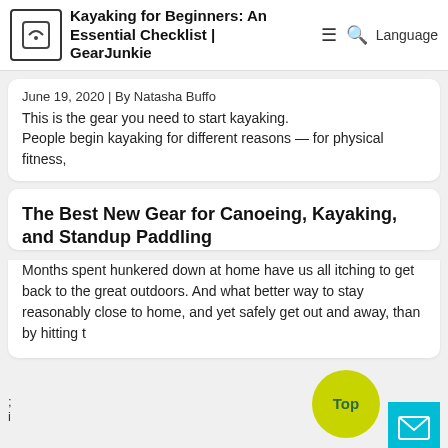Kayaking for Beginners: An Essential Checklist | GearJunkie
June 19, 2020 | By Natasha Buffo
This is the gear you need to start kayaking.
People begin kayaking for different reasons — for physical fitness,
The Best New Gear for Canoeing, Kayaking, and Standup Paddling
Months spent hunkered down at home have us all itching to get back to the great outdoors. And what better way to stay reasonably close to home, and yet safely get out and away, than by hitting t
;
i